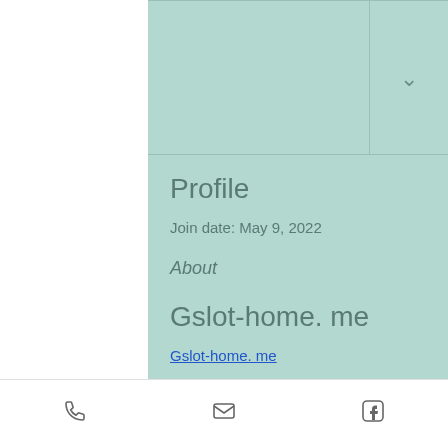Profile
Join date: May 9, 2022
About
Gslot-home. me
Gslot-home. me
[Figure (photo): Blurred photo with colorful background, showing blurred circular figures]
Phone | Email | Facebook icons